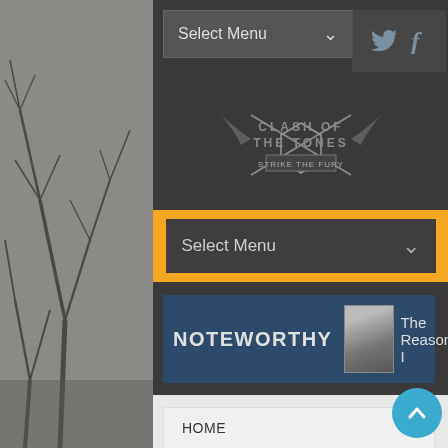[Figure (screenshot): Website screenshot showing a dark-themed music/entertainment site 'Clash of the Tones' with navigation menus, a Noteworthy section with book/album thumbnail, and a dropdown menu listing HOME, VOTE, WELCOME TO OUR APRIL NEW RELEASES]
HOME
VOTE
WELCOME TO OUR APRIL NEW RELEASES